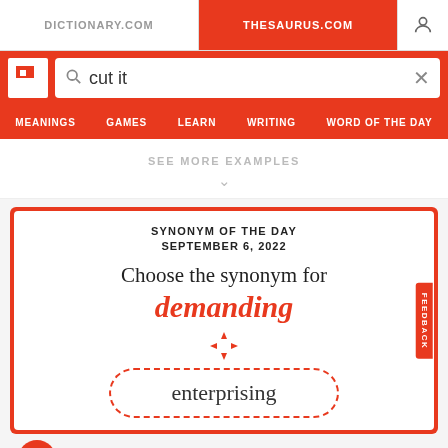DICTIONARY.COM   THESAURUS.COM
cut it
MEANINGS   GAMES   LEARN   WRITING   WORD OF THE DAY
SEE MORE EXAMPLES
SYNONYM OF THE DAY
SEPTEMBER 6, 2022
Choose the synonym for demanding
enterprising